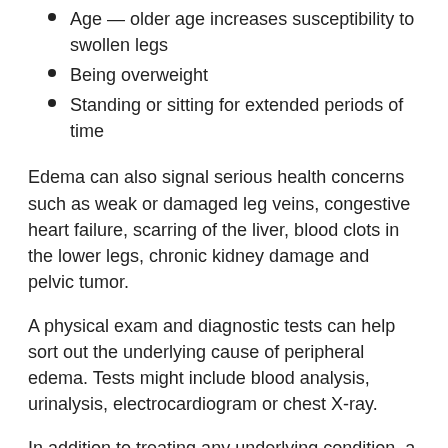Age — older age increases susceptibility to swollen legs
Being overweight
Standing or sitting for extended periods of time
Edema can also signal serious health concerns such as weak or damaged leg veins, congestive heart failure, scarring of the liver, blood clots in the lower legs, chronic kidney damage and pelvic tumor.
A physical exam and diagnostic tests can help sort out the underlying cause of peripheral edema. Tests might include blood analysis, urinalysis, electrocardiogram or chest X-ray.
In addition to treating any underlying condition, a physician will likely suggest management techniques to help prevent fluid retention. Options include wearing special compression stockings, lying down with legs elevated from the ground to help drain fluid.